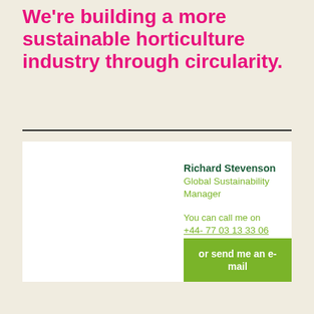We're building a more sustainable horticulture industry through circularity.
Richard Stevenson
Global Sustainability Manager

You can call me on
+44- 77 03 13 33 06

or send me an e-mail